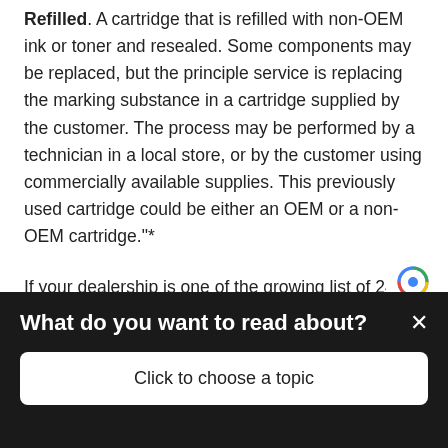Refilled. A cartridge that is refilled with non-OEM ink or toner and resealed. Some components may be replaced, but the principle service is replacing the marking substance in a cartridge supplied by the customer. The process may be performed by a technician in a local store, or by the customer using commercially available supplies. This previously used cartridge could be either an OEM or a non-OEM cartridge."*
If your dealership is one of the growing list of 243 75 200 Awardees or the 18 Current OS4 awardees, then compliance with the four naming conventions is essential. Do not let your website get reported.
[Figure (other): reCAPTCHA badge logo (blue circular icon)]
What do you want to read about?
Click to choose a topic